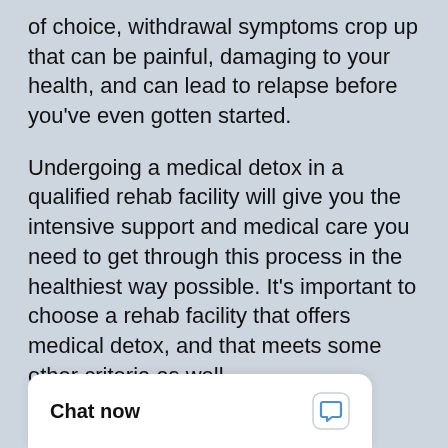of choice, withdrawal symptoms crop up that can be painful, damaging to your health, and can lead to relapse before you've even gotten started.
Undergoing a medical detox in a qualified rehab facility will give you the intensive support and medical care you need to get through this process in the healthiest way possible. It's important to choose a rehab facility that offers medical detox, and that meets some other criteria as well.
[Figure (other): Chat now widget button with speech bubble icon]